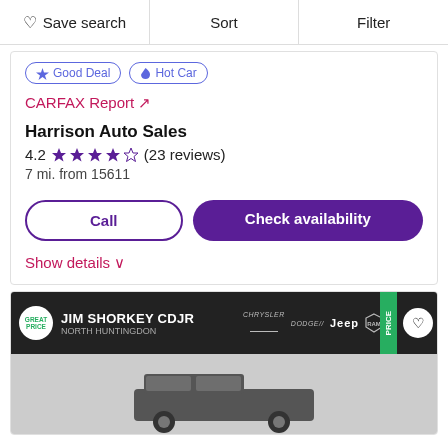Save search  Sort  Filter
Good Deal  Hot Car
CARFAX Report ↗
Harrison Auto Sales
4.2 ★★★★☆ (23 reviews)
7 mi. from 15611
Call
Check availability
Show details ∨
JIM SHORKEY CDJR NORTH HUNTINGDON